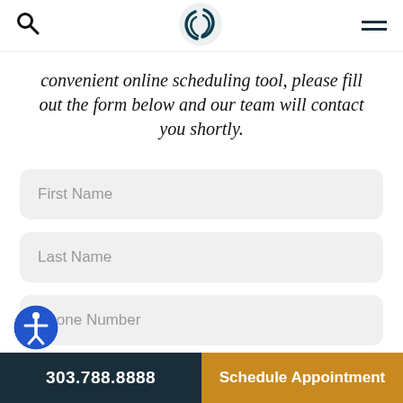Navigation header with search icon, logo, and menu icon
convenient online scheduling tool, please fill out the form below and our team will contact you shortly.
First Name
Last Name
Phone Number
Email Address
303.788.8888 | Schedule Appointment